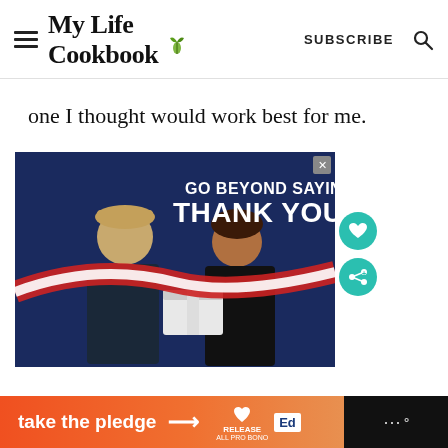My Life Cookbook — SUBSCRIBE
one I thought would work best for me.
[Figure (photo): Advertisement banner: 'GO BEYOND SAYING THANK YOU' with two people exchanging a package, patriotic red/white/blue design]
take the pledge → RELEASE ED